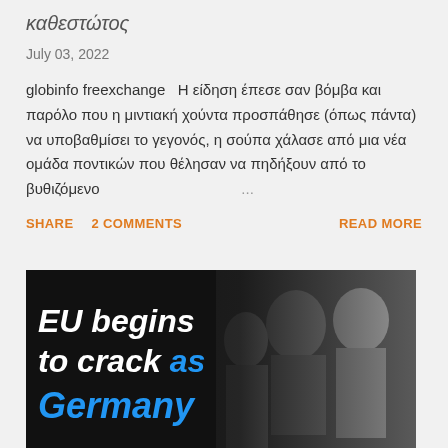καθεστώτος
July 03, 2022
globinfo freexchange  Η είδηση έπεσε σαν βόμβα και παρόλο που η μιντιακή χούντα προσπάθησε (όπως πάντα) να υποβαθμίσει το γεγονός, η σούπα χάλασε από μια νέα ομάδα ποντικών που θέλησαν να πηδήξουν από το βυθιζόμενο ...
SHARE  2 COMMENTS  READ MORE
[Figure (photo): News article image with text overlay: 'EU begins to crack as Germany' in bold italic white and blue text, with photo of people in background including a blonde woman and a man]